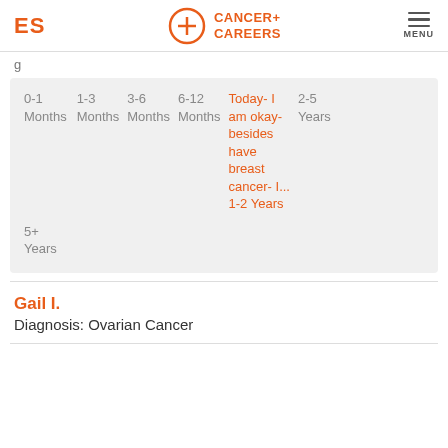ES | Cancer+ Careers | MENU
g
0-1 Months  1-3 Months  3-6 Months  6-12 Months  Today- I am okay- besides have breast cancer- I... 1-2 Years  2-5 Years  5+ Years
Gail I.
Diagnosis: Ovarian Cancer